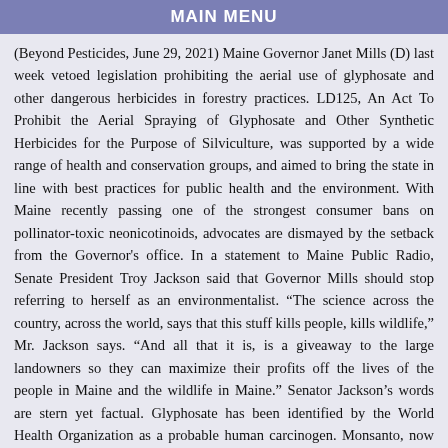MAIN MENU
(Beyond Pesticides, June 29, 2021) Maine Governor Janet Mills (D) last week vetoed legislation prohibiting the aerial use of glyphosate and other dangerous herbicides in forestry practices. LD125, An Act To Prohibit the Aerial Spraying of Glyphosate and Other Synthetic Herbicides for the Purpose of Silviculture, was supported by a wide range of health and conservation groups, and aimed to bring the state in line with best practices for public health and the environment. With Maine recently passing one of the strongest consumer bans on pollinator-toxic neonicotinoids, advocates are dismayed by the setback from the Governor's office. In a statement to Maine Public Radio, Senate President Troy Jackson said that Governor Mills should stop referring to herself as an environmentalist. “The science across the country, across the world, says that this stuff kills people, kills wildlife,” Mr. Jackson says. “And all that it is, is a giveaway to the large landowners so they can maximize their profits off the lives of the people in Maine and the wildlife in Maine.” Senator Jackson’s words are stern yet factual. Glyphosate has been identified by the World Health Organization as a probable human carcinogen. Monsanto, now owned by Bayer, has been the subject [...]